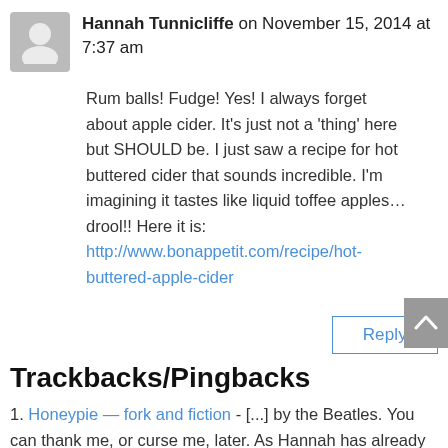Hannah Tunnicliffe on November 15, 2014 at 7:37 am
Rum balls! Fudge! Yes! I always forget about apple cider. It's just not a 'thing' here but SHOULD be. I just saw a recipe for hot buttered cider that sounds incredible. I'm imagining it tastes like liquid toffee apples…drool!! Here it is: http://www.bonappetit.com/recipe/hot-buttered-apple-cider
Reply
Trackbacks/Pingbacks
1. Honeypie — fork and fiction - [...] by the Beatles. You can thank me, or curse me, later. As Hannah has already proven, having a soundtrack…